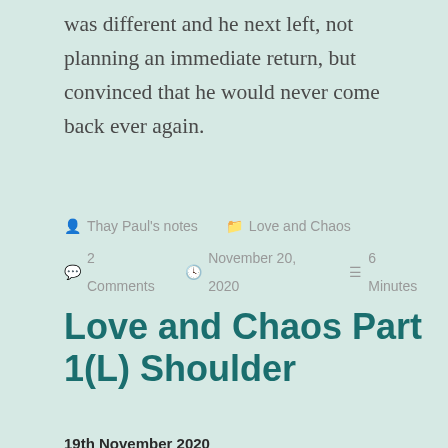was different and he next left, not planning an immediate return, but convinced that he would never come back ever again.
Thay Paul's notes  Love and Chaos  2 Comments  November 20, 2020  6 Minutes
Love and Chaos Part 1(L) Shoulder
19th November 2020
[Figure (photo): Black and white photo of what appears to be pencils or cylindrical objects arranged on a surface]